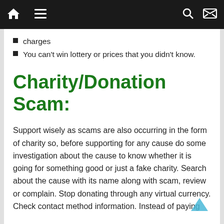Navigation bar with home, menu, search, and shuffle icons
charges
You can't win lottery or prices that you didn't know.
Charity/Donation Scam:
Support wisely as scams are also occurring in the form of charity so, before supporting for any cause do some investigation about the cause to know whether it is going for something good or just a fake charity. Search about the cause with its name along with scam, review or complain. Stop donating through any virtual currency. Check contact method information. Instead of paying